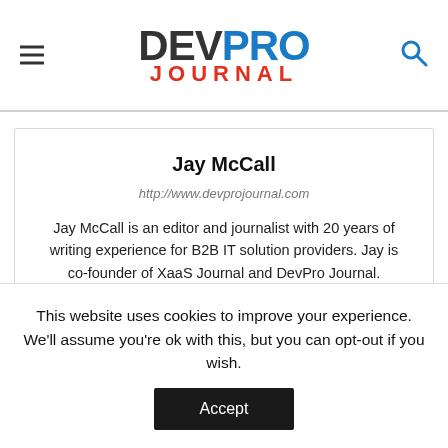DEVPRO JOURNAL
Jay McCall
http://www.devprojournal.com
Jay McCall is an editor and journalist with 20 years of writing experience for B2B IT solution providers. Jay is co-founder of XaaS Journal and DevPro Journal.
RELATED ARTICLES
This website uses cookies to improve your experience. We'll assume you're ok with this, but you can opt-out if you wish.